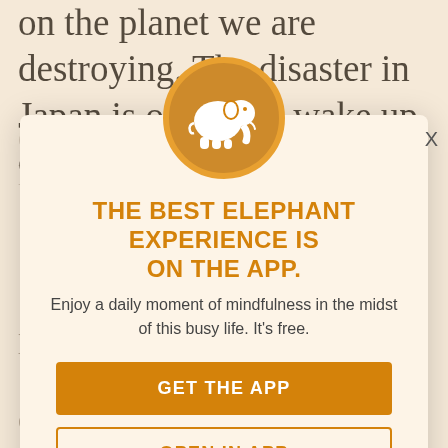on the planet we are destroying. The disaster in Japan is one more wake up call in an
escalating series of messages we have been receiving and ignoring. The Karmapa spoke about nuclear danger and death. We are trying to convey with all the teachings and
[Figure (illustration): White elephant silhouette on an orange/amber circular background, serving as the Elephant Journal app logo]
THE BEST ELEPHANT EXPERIENCE IS ON THE APP.
Enjoy a daily moment of mindfulness in the midst of this busy life. It's free.
GET THE APP
OPEN IN APP
Yes. This "real world" is a place where we enact our drama. The most important teaching for me means we practice emptiness.